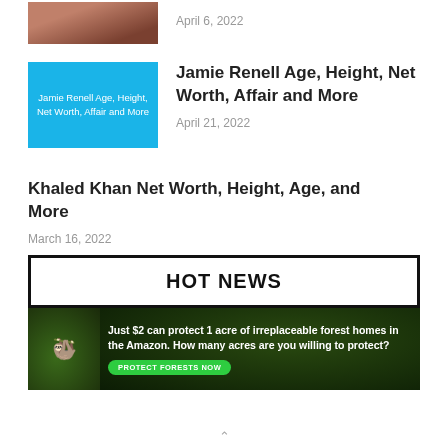[Figure (photo): Partial view of a person photo thumbnail cropped at top]
April 6, 2022
[Figure (illustration): Blue thumbnail with text: Jamie Renell Age, Height, Net Worth, Affair and More]
Jamie Renell Age, Height, Net Worth, Affair and More
April 21, 2022
Khaled Khan Net Worth, Height, Age, and More
March 16, 2022
Load more >
HOT NEWS
[Figure (photo): Advertisement banner: Just $2 can protect 1 acre of irreplaceable forest homes in the Amazon. How many acres are you willing to protect? PROTECT FORESTS NOW]